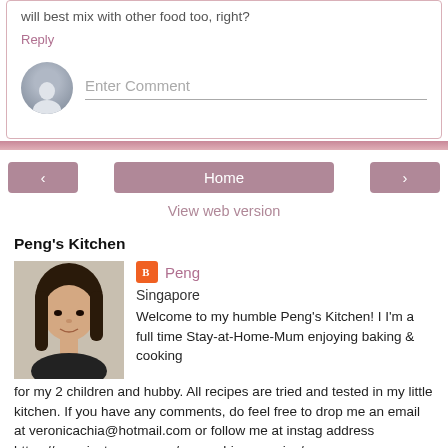will best mix with other food too, right?
Reply
Enter Comment
Home
View web version
Peng's Kitchen
Peng
Singapore
Welcome to my humble Peng's Kitchen! I I'm a full time Stay-at-Home-Mum enjoying baking & cooking for my 2 children and hubby. All recipes are tried and tested in my little kitchen. If you have any comments, do feel free to drop me an email at veronicachia@hotmail.com or follow me at instag address https://www.instagram.com/peng_chia_veronica/